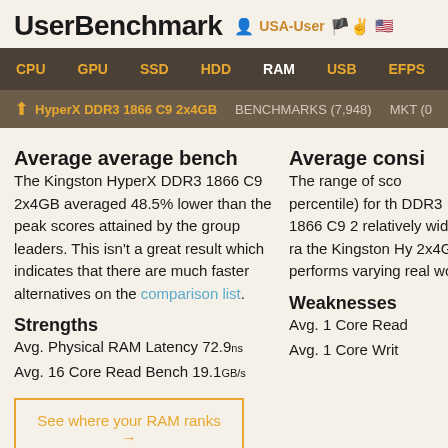UserBenchmark  USA-User
CPU  GPU  SSD  HDD  RAM  USB  EFPS  FPS  SK
↑ HyperX DDR3 1866 C9 2x4GB  BENCHMARKS (7,948)  MKT (0
Average average bench
The Kingston HyperX DDR3 1866 C9 2x4GB averaged 48.5% lower than the peak scores attained by the group leaders. This isn't a great result which indicates that there are much faster alternatives on the comparison list.
Strengths
Avg. Physical RAM Latency 72.9ns
Avg. 16 Core Read Bench 19.1 GB/s
See where your RAM ranks →
Average consi
The range of sco percentile) for th DDR3 1866 C9 2 relatively wide ra the Kingston Hy 2x4GB performs varying real worl
Weaknesses
Avg. 1 Core Read
Avg. 1 Core Writ